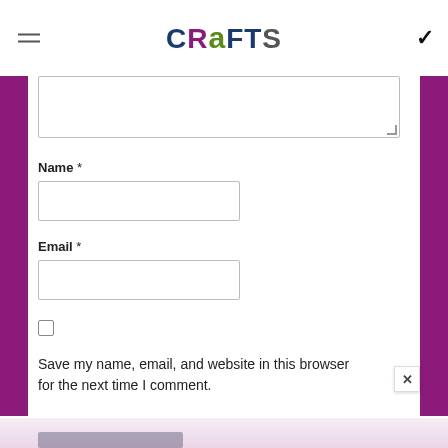CRAFTS
Name *
Email *
Save my name, email, and website in this browser for the next time I comment.